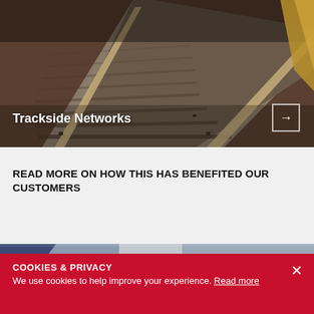[Figure (photo): Close-up photo of railway tracks and wooden sleepers from above at an angle, showing ballast stones and metal rail fastenings]
Trackside Networks →
READ MORE ON HOW THIS HAS BENEFITED OUR CUSTOMERS
[Figure (photo): Partial view of a vehicle or train component, dark blue and grey tones]
COOKIES & PRIVACY
We use cookies to help improve your experience. Read more